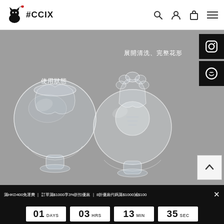#CCIX
[Figure (photo): Two glass bubble cups with flower-shaped openings on a grey background. Left cup shows 使用狀態 (in-use state), right cup shows 展開清洗、完整花形 (unfolded for cleaning, complete flower shape).]
使用狀態
展開清洗、完整花形
滿HKD400免運費 | 訂單滿$1000享3%折扣優惠 | 8折優惠代碼滿$1000減$100
01 DAYS  03 HRS  13 MIN  35 SEC